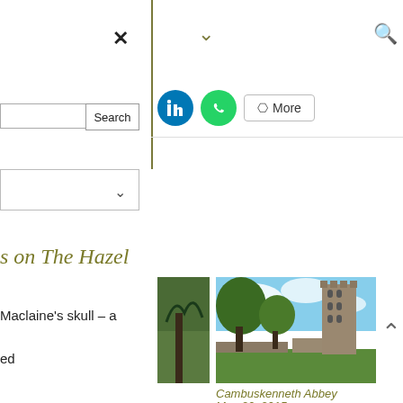[Figure (screenshot): Close/X button for mobile nav menu]
[Figure (screenshot): Chevron/dropdown icon in olive/dark yellow color]
[Figure (screenshot): Search magnifier icon in olive color]
[Figure (screenshot): Search input box with Search button]
[Figure (screenshot): Dropdown selector box with chevron arrow]
[Figure (screenshot): LinkedIn share button (blue circle), WhatsApp share button (green circle), More share button]
s on The Hazel
[Figure (photo): Partial photo of trees/landscape (left edge cut off)]
[Figure (photo): Photo of Cambuskenneth Abbey with tower, trees and blue sky]
Maclaine's skull – a
ed
Cambuskenneth Abbey
May 20, 2015